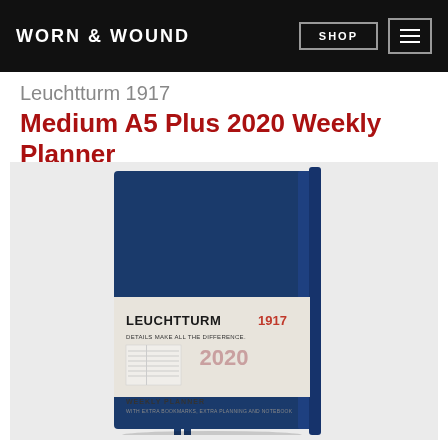WORN & WOUND | SHOP
Leuchtturm 1917
Medium A5 Plus 2020 Weekly Planner
[Figure (photo): Leuchtturm 1917 Medium A5 Plus 2020 Weekly Planner notebook in navy blue hardcover with elastic band closure. The notebook has a paper band/label showing: LEUCHTTURM1917, DETAILS MAKE ALL THE DIFFERENCE., 2020 in pink/rose text, and WEEKLY PLANNER text at the bottom. Two navy ribbon bookmarks visible at the bottom.]